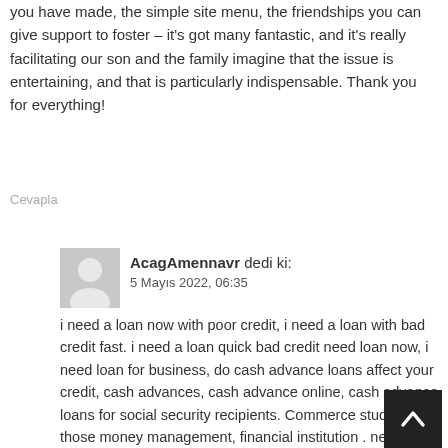you have made, the simple site menu, the friendships you can give support to foster – it's got many fantastic, and it's really facilitating our son and the family imagine that the issue is entertaining, and that is particularly indispensable. Thank you for everything!
Cevapla
AcagAmennavr dedi ki:
5 Mayıs 2022, 06:35
i need a loan now with poor credit, i need a loan with bad credit fast. i need a loan quick bad credit need loan now, i need loan for business, do cash advance loans affect your credit, cash advances, cash advance online, cash advance loans for social security recipients. Commerce study of those money management, financial institution . need a loan been refused everywhere fast personal loan i need a loan for low income.